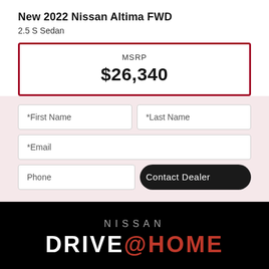New 2022 Nissan Altima FWD
2.5 S Sedan
MSRP $26,340
[Figure (screenshot): Form with fields for First Name, Last Name, Email, Phone, and a Contact Dealer button on a light pink/rose background]
[Figure (screenshot): Nissan Drive@Home promotional banner with black background, gray NISSAN text, white DRIVE and red @HOME text]
Your web browser (iOS 11) is out of date. Update your browser for more security, speed and the best experience on this site.
Update browser   Ignore